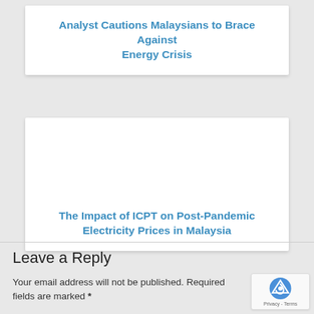Analyst Cautions Malaysians to Brace Against Energy Crisis
The Impact of ICPT on Post-Pandemic Electricity Prices in Malaysia
Leave a Reply
Your email address will not be published. Required fields are marked *